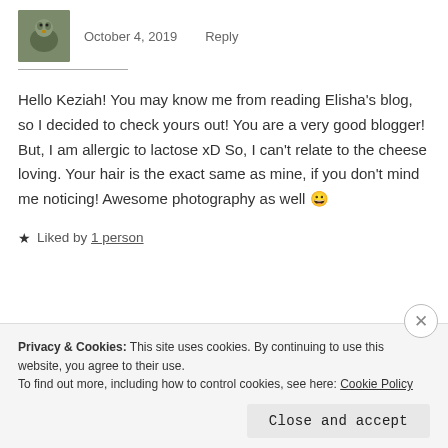[Figure (photo): User avatar photo of a bird or animal in green foliage]
October 4, 2019   Reply
Hello Keziah! You may know me from reading Elisha's blog, so I decided to check yours out! You are a very good blogger! But, I am allergic to lactose xD So, I can't relate to the cheese loving. Your hair is the exact same as mine, if you don't mind me noticing! Awesome photography as well 😀
★ Liked by 1 person
Privacy & Cookies: This site uses cookies. By continuing to use this website, you agree to their use.
To find out more, including how to control cookies, see here: Cookie Policy
Close and accept